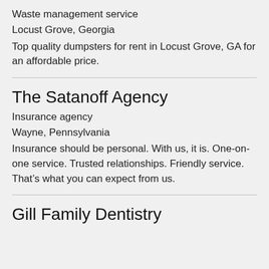Waste management service
Locust Grove, Georgia
Top quality dumpsters for rent in Locust Grove, GA for an affordable price.
The Satanoff Agency
Insurance agency
Wayne, Pennsylvania
Insurance should be personal. With us, it is. One-on-one service. Trusted relationships. Friendly service. That's what you can expect from us.
Gill Family Dentistry